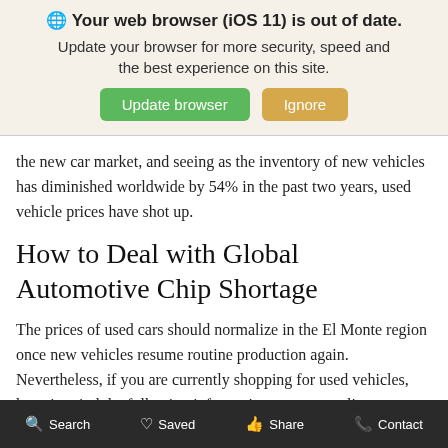[Figure (screenshot): Browser update notification banner with globe icon, bold title 'Your web browser (iOS 11) is out of date.', subtitle text, and two buttons: 'Update browser' (green) and 'Ignore' (tan/gold)]
the new car market, and seeing as the inventory of new vehicles has diminished worldwide by 54% in the past two years, used vehicle prices have shot up.
How to Deal with Global Automotive Chip Shortage
The prices of used cars should normalize in the El Monte region once new vehicles resume routine production again. Nevertheless, if you are currently shopping for used vehicles, keep in mind the following information to get a quality pre-owned car without going over budget:
Conduct Thorough Research: Take advantage
Search   Saved   Share   Contact